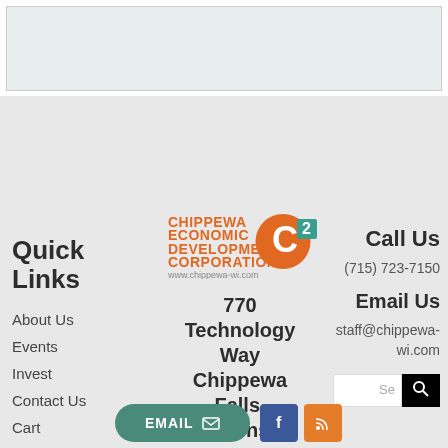[Figure (other): Light blue-gray rectangular banner area at the top of the page]
[Figure (logo): Chippewa Economic Development Corporation C2 logo with orange text and teal C2 icon, www.chippewa-wi.com]
Quick Links
About Us
Events
Invest
Contact Us
Cart
770 Technology Way Chippewa Falls, Wisconsin, USA
Call Us
(715) 723-7150
Email Us
staff@chippewa-wi.com
[Figure (screenshot): Search input box with white background showing 'Se' placeholder and a black search button with magnifying glass icon]
[Figure (other): Bottom bar with teal EMAIL button, blue Facebook icon button, and orange RSS icon button]